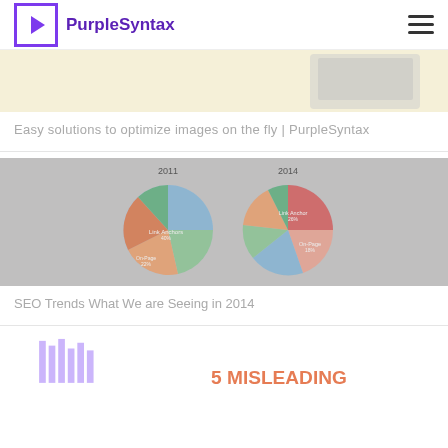PurpleSyntax
[Figure (screenshot): Screenshot of a webpage showing an image optimization article on PurpleSyntax with a light yellow/beige background and a faded device image on the right.]
Easy solutions to optimize images on the fly | PurpleSyntax
[Figure (pie-chart): Two pie charts comparing SEO ranking factors in 2011 and 2014. Categories include Link Anchor, On-Page, and other SEO factors. Image is faded/greyed out.]
SEO Trends What We are Seeing in 2014
[Figure (other): Partial view of a bar chart with purple bars and red text reading '5 MISLEADING' at the bottom right.]
5 MISLEADING